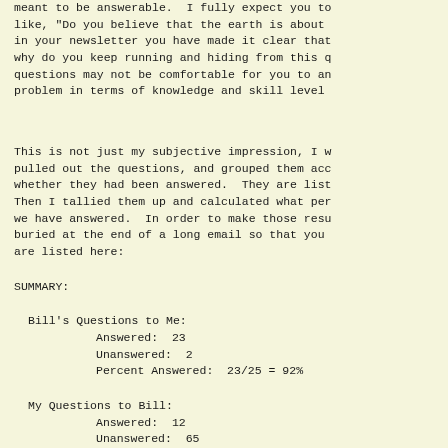meant to be answerable.  I fully expect you to ask questions like, "Do you believe that the earth is about ... in your newsletter you have made it clear that ... why do you keep running and hiding from this question ... questions may not be comfortable for you to answer ... problem in terms of knowledge and skill level ...
This is not just my subjective impression, I went and pulled out the questions, and grouped them according to whether they had been answered.  They are listed ... Then I tallied them up and calculated what percent we have answered.  In order to make those results buried at the end of a long email so that you ... are listed here:
SUMMARY:
Bill's Questions to Me:
    Answered:  23
    Unanswered:  2
    Percent Answered:  23/25 = 92%
My Questions to Bill:
    Answered:  12
    Unanswered:  65
    Asked Repeated and Not Answered:  18
    Percent Answered:  12/(12+65+18) = 12/95 =
Sources of error:
1. That was not just a rhetorical question, it was meant to be answerable.